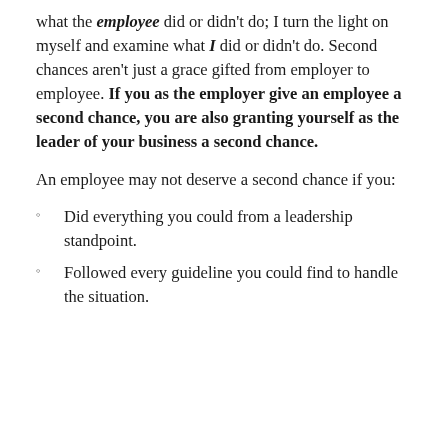what the employee did or didn't do; I turn the light on myself and examine what I did or didn't do. Second chances aren't just a grace gifted from employer to employee. If you as the employer give an employee a second chance, you are also granting yourself as the leader of your business a second chance.
An employee may not deserve a second chance if you:
Did everything you could from a leadership standpoint.
Followed every guideline you could find to handle the situation.